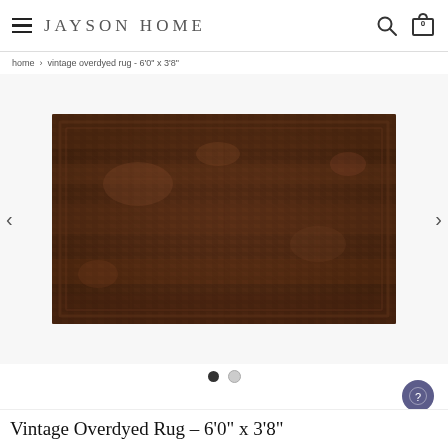JAYSON HOME
home > vintage overdyed rug - 6'0" x 3'8"
[Figure (photo): Product photo of a vintage overdyed rug in dark brown/chocolate color, shown flat laid on a white background. The rug has a distressed, aged appearance with subtle texture variations. Approximate dimensions 6'0" x 3'8". Navigation arrows on left and right sides.]
Vintage Overdyed Rug - 6'0" x 3'8"